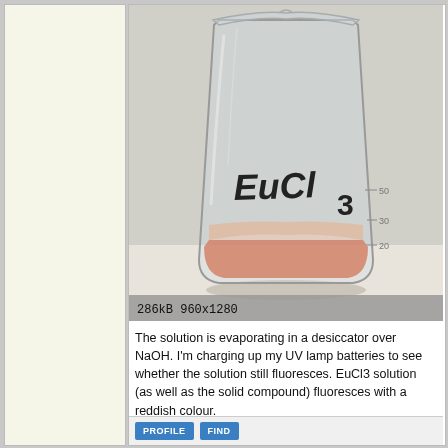[Figure (photo): A glass laboratory beaker labeled 'EuCl3' in black marker, containing a pink/orange solution, photographed against a light background. Image metadata shown: 286kB 960x1280.]
The solution is evaporating in a desiccator over NaOH. I'm charging up my UV lamp batteries to see whether the solution still fluoresces. EuCl3 solution (as well as the solid compound) fluoresces with a reddish colour.